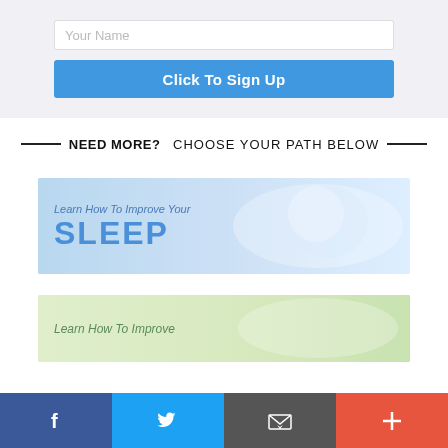Your Name
Click To Sign Up
NEED MORE? CHOOSE YOUR PATH BELOW
[Figure (illustration): Banner image showing sleeping woman with text 'Learn How To Improve Your SLEEP']
[Figure (illustration): Banner image showing person outdoors with text 'Learn How To Improve']
f (Facebook) | Twitter bird | Email envelope | + (Plus)